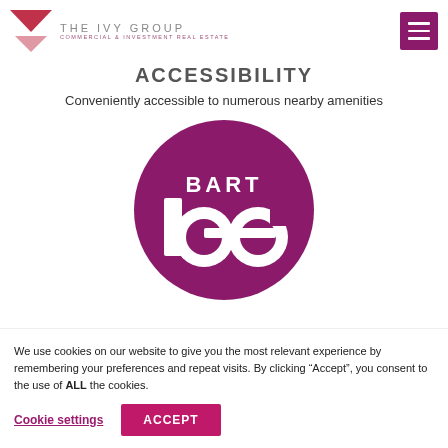THE IVY GROUP | COMMERCIAL & INVESTMENT REAL ESTATE
ACCESSIBILITY
Conveniently accessible to numerous nearby amenities
[Figure (logo): BART (Bay Area Rapid Transit) logo — white text and stylized 'ba' letters on a circular magenta/purple background]
We use cookies on our website to give you the most relevant experience by remembering your preferences and repeat visits. By clicking “Accept”, you consent to the use of ALL the cookies.
Cookie settings | ACCEPT